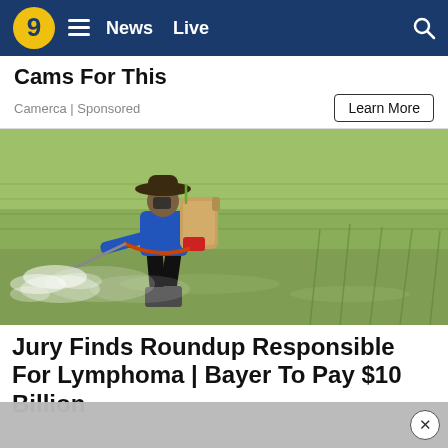9 | News  Live
Cams For This
Camerca | Sponsored
Learn More
[Figure (photo): A farm worker wearing a wide-brimmed hat and carrying a large backpack sprayer, spraying herbicide over a flooded rice paddy field. The worker is wearing a blue long-sleeve shirt and rubber boots.]
Jury Finds Roundup Responsible For Lymphoma | Bayer To Pay $10 Billion